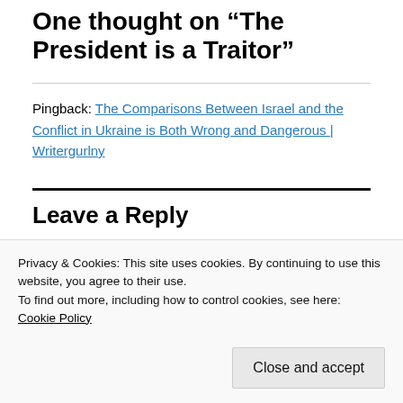One thought on “The President is a Traitor”
Pingback: The Comparisons Between Israel and the Conflict in Ukraine is Both Wrong and Dangerous | Writergurlny
Leave a Reply
Privacy & Cookies: This site uses cookies. By continuing to use this website, you agree to their use.
To find out more, including how to control cookies, see here:
Cookie Policy
Close and accept